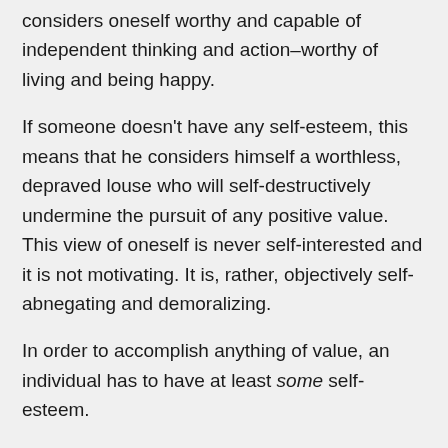considers oneself worthy and capable of independent thinking and action–worthy of living and being happy.
If someone doesn't have any self-esteem, this means that he considers himself a worthless, depraved louse who will self-destructively undermine the pursuit of any positive value. This view of oneself is never self-interested and it is not motivating. It is, rather, objectively self-abnegating and demoralizing.
In order to accomplish anything of value, an individual has to have at least some self-esteem.
Now, what is the motivation for someone